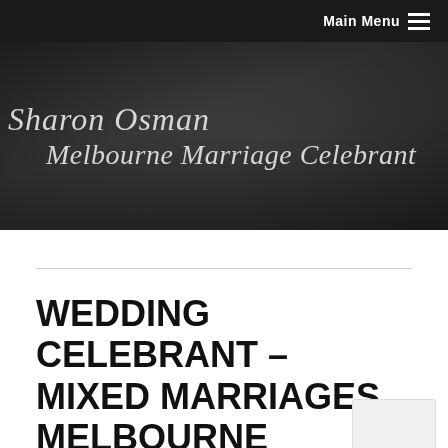Main Menu
[Figure (screenshot): Banner image with dark gradient background and script text reading 'Sharon Osman Melbourne Marriage Celebrant']
WEDDING CELEBRANT – MIXED MARRIAGES MELBOURNE